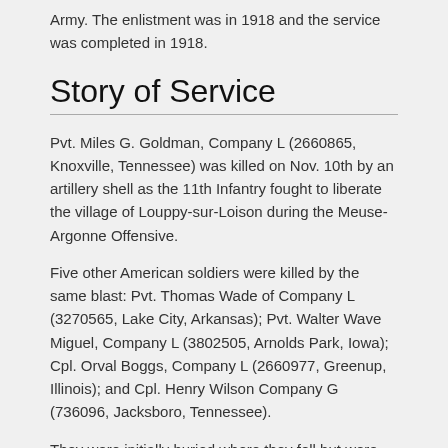Army. The enlistment was in 1918 and the service was completed in 1918.
Story of Service
Pvt. Miles G. Goldman, Company L (2660865, Knoxville, Tennessee) was killed on Nov. 10th by an artillery shell as the 11th Infantry fought to liberate the village of Louppy-sur-Loison during the Meuse-Argonne Offensive.
Five other American soldiers were killed by the same blast: Pvt. Thomas Wade of Company L (3270565, Lake City, Arkansas); Pvt. Walter Wave Miguel, Company L (3802505, Arnolds Park, Iowa); Cpl. Orval Boggs, Company L (2660977, Greenup, Illinois); and Cpl. Henry Wilson Company G (736096, Jacksboro, Tennessee).
They were initially buried where they fell but were